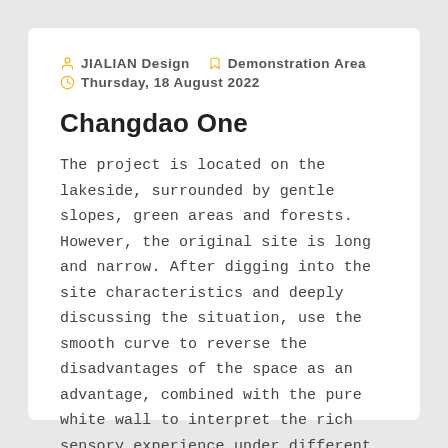JIALIAN Design   Demonstration Area   Thursday, 18 August 2022
Changdao One
The project is located on the lakeside, surrounded by gentle slopes, green areas and forests. However, the original site is long and narrow. After digging into the site characteristics and deeply discussing the situation, use the smooth curve to reverse the disadvantages of the space as an advantage, combined with the pure white wall to interpret the rich sensory experience under different turning spaces, and a dance journey into the depths of the canyon has started.
Continue reading